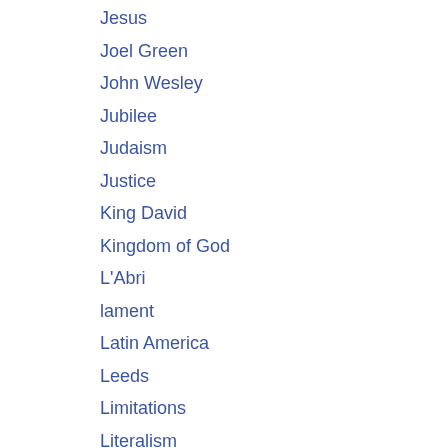Jesus
Joel Green
John Wesley
Jubilee
Judaism
Justice
King David
Kingdom of God
L'Abri
lament
Latin America
Leeds
Limitations
Literalism
Lordship of Christ
Malcolm Gladwell
Mark Heard
Mechon Hadar